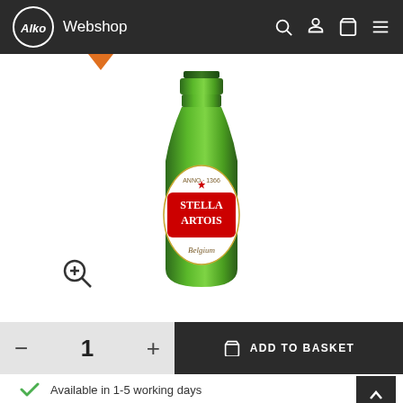Alko Webshop
[Figure (photo): Green Stella Artois Belgium beer bottle with white oval label on white background, with a zoom/magnify icon in lower left]
1
ADD TO BASKET
Available in 1-5 working days
Check store availability
Feedback